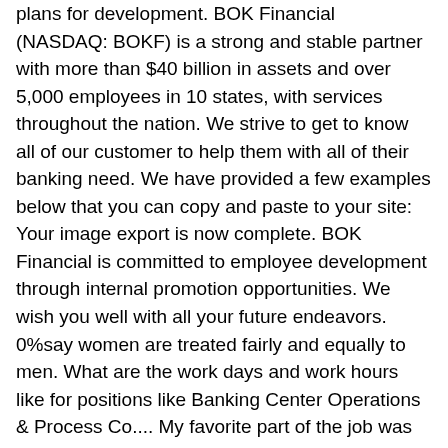plans for development. BOK Financial (NASDAQ: BOKF) is a strong and stable partner with more than $40 billion in assets and over 5,000 employees in 10 states, with services throughout the nation. We strive to get to know all of our customer to help them with all of their banking need. We have provided a few examples below that you can copy and paste to your site: Your image export is now complete. BOK Financial is committed to employee development through internal promotion opportunities. We wish you well with all your future endeavors. 0%say women are treated fairly and equally to men. What are the work days and work hours like for positions like Banking Center Operations & Process Co.... My favorite part of the job was managing, developing and training my team. Thank you for taking the time to provide us feedback and this review. Good working environment with fair reviews.